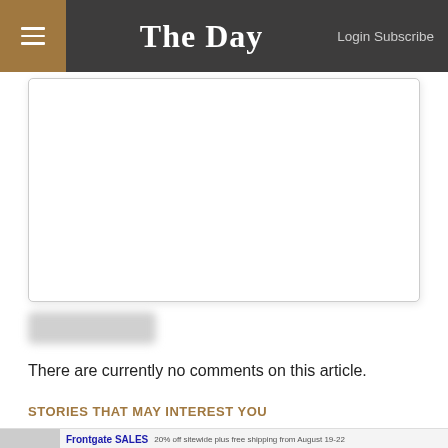The Day — Login Subscribe
[Figure (screenshot): Blurred comment text input box (textarea)]
[Figure (screenshot): Blurred 'Post Comment' button]
There are currently no comments on this article.
STORIES THAT MAY INTEREST YOU
[Figure (screenshot): Advertisement banner: Frontgate SALES — 20% off sitewide plus free shipping from August 19-22 — frontgate.com — with outdoor furniture image and navigation arrow button]